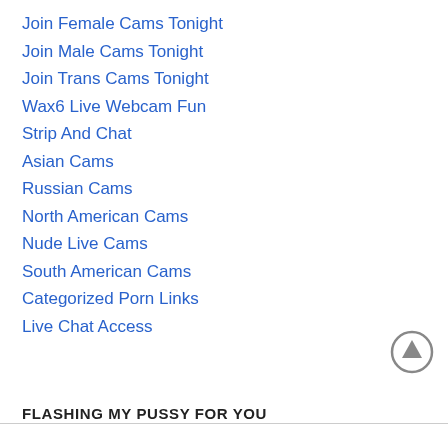Join Female Cams Tonight
Join Male Cams Tonight
Join Trans Cams Tonight
Wax6 Live Webcam Fun
Strip And Chat
Asian Cams
Russian Cams
North American Cams
Nude Live Cams
South American Cams
Categorized Porn Links
Live Chat Access
FLASHING MY PUSSY FOR YOU